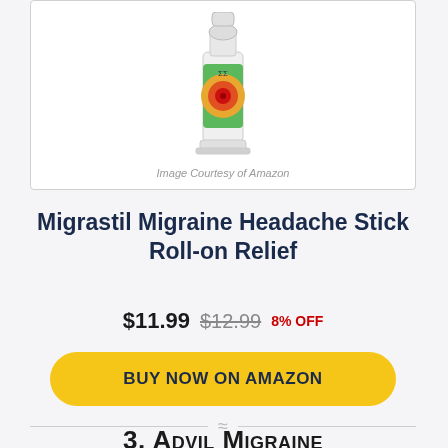[Figure (photo): Product image of Migrastil Migraine Headache Stick Roll-on Relief bottle with green label and colorful bullseye design, shown in a white bordered box]
Image Courtesy of Amazon
Migrastil Migraine Headache Stick Roll-on Relief
$11.99  $12.99  8% OFF
BUY NOW ON AMAZON
3. Advil Migraine